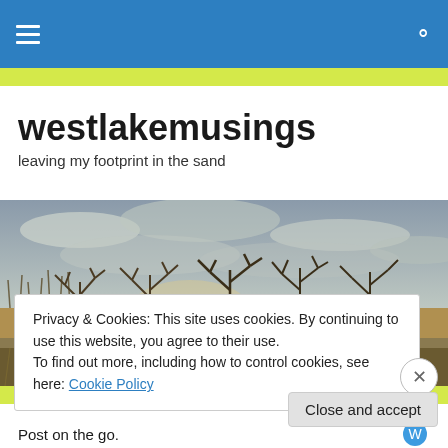westlakemusings navigation bar with hamburger menu and search icon
westlakemusings
leaving my footprint in the sand
[Figure (photo): Panoramic landscape photo showing bare winter trees and tall grass/reeds in the foreground against a cloudy grey sky with muted light on the horizon]
Privacy & Cookies: This site uses cookies. By continuing to use this website, you agree to their use.
To find out more, including how to control cookies, see here: Cookie Policy
Close and accept
Post on the go.